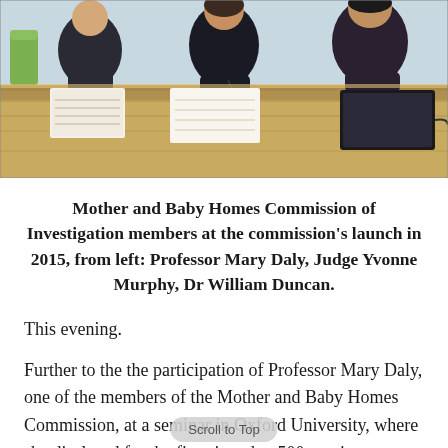[Figure (photo): Photo of three people seated at a table writing or taking notes, viewed from across a wooden conference table. The individuals appear to be panel members.]
Mother and Baby Homes Commission of Investigation members at the commission's launch in 2015, from left: Professor Mary Daly, Judge Yvonne Murphy, Dr William Duncan.
This evening.
Further to the the participation of Professor Mary Daly, one of the members of the Mother and Baby Homes Commission, at a seminar in Oxford University, where she disclosed for the first time that 500 survivor testimonies were excluded from the commission's final report, the below has emerged.